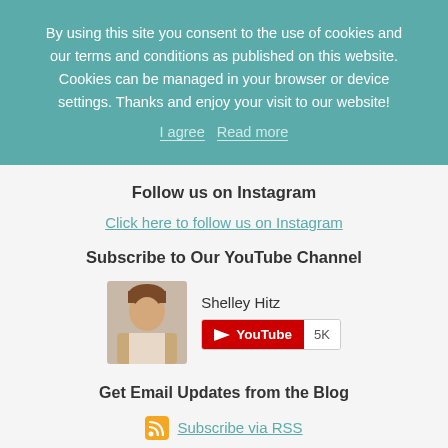By using this site you consent to the use of cookies and our terms and conditions as published on this website. Cookies can be managed in your browser or device settings. Thanks and enjoy your visit to our website!
I agree   Read more
Follow us on Instagram
Click here to follow us on Instagram
Subscribe to Our YouTube Channel
[Figure (photo): Photo of Shelley Hitz with YouTube subscribe button showing 5K subscribers]
Get Email Updates from the Blog
Subscribe via RSS